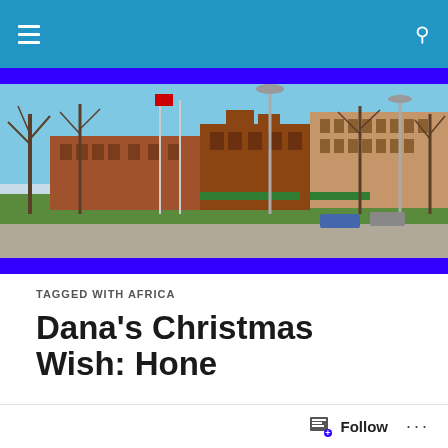Navigation bar with menu icon and search icon
[Figure (photo): Outdoor photo of a town square or park area with bare trees, green grass, brick commercial buildings, flagpoles, and a tan/brick multi-story office building in background under blue sky]
TAGGED WITH AFRICA
Dana's Christmas Wish: Hone
Follow ...